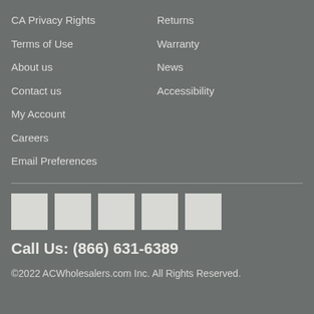CA Privacy Rights
Returns
Terms of Use
Warranty
About us
News
Contact us
Accessibility
My Account
Careers
Email Preferences
[Figure (illustration): Five social media icon placeholders rendered as light gray squares]
Call Us: (866) 631-6389
©2022 ACWholesalers.com Inc. All Rights Reserved.